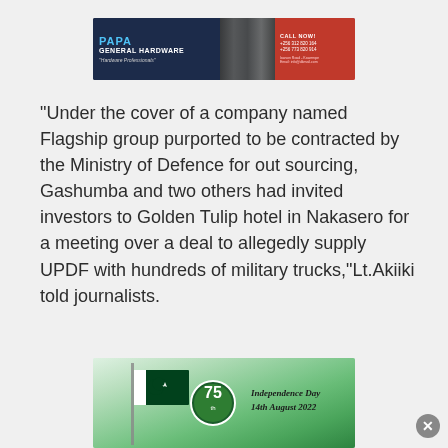[Figure (photo): Papa General Hardware advertisement banner with blue/dark background on left showing brand name, tool imagery in center, and red call-now section on right]
“Under the cover of a company named Flagship group purported to be contracted by the Ministry of Defence for out sourcing, Gashumba and two others had invited investors to Golden Tulip hotel in Nakasero for a meeting over a deal to allegedly supply UPDF with hundreds of military trucks,”Lt.Akiiki told journalists.
[Figure (photo): Pakistan Independence Day 75th anniversary banner with green background, Pakistani flag imagery, and text reading 'Independence Day 14th August 2022']